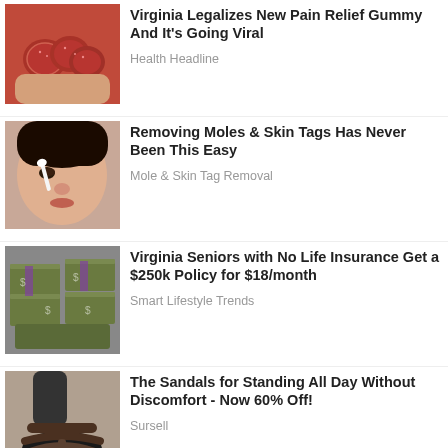[Figure (photo): Hand holding red gummy candies]
Virginia Legalizes New Pain Relief Gummy And It's Going Viral
Health Headline
[Figure (photo): Woman applying cotton swab near nose]
Removing Moles & Skin Tags Has Never Been This Easy
Mole & Skin Tag Removal
[Figure (photo): Stacks of US dollar bills]
Virginia Seniors with No Life Insurance Get a $250k Policy for $18/month
Smart Lifestyle Trends
[Figure (photo): Black sandals on woman's feet]
The Sandals for Standing All Day Without Discomfort - Now 60% Off!
Sursell
[Figure (photo): Amazon ad with products - cat, shoes, game controller]
Shop. Connect. Enjoy. amazon Shop now ▸ Privacy